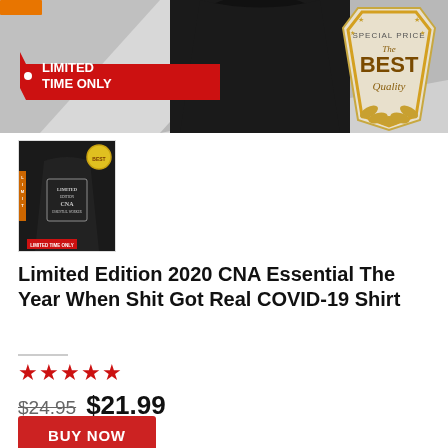[Figure (photo): Product banner showing a black sweatshirt/shirt with 'LIMITED TIME ONLY' red tag on left and 'SPECIAL PRICE THE BEST Quality' golden shield badge on right. Small orange tag in top-left corner.]
[Figure (photo): Thumbnail image of a black t-shirt with 'Limited Edition CNA' graphic text and award badge overlay, with 'Limited Time Only' red tag at bottom.]
Limited Edition 2020 CNA Essential The Year When Shit Got Real COVID-19 Shirt
[Figure (other): 5 red stars rating]
$24.95  $21.99
BUY NOW